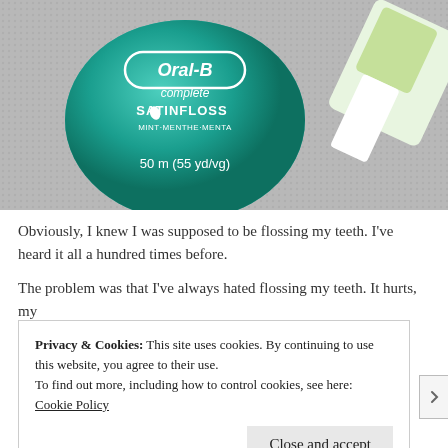[Figure (photo): A teal/green Oral-B Complete SatinFloss dental floss container (50m / 55 yd/vg, Mint/Menthe/Menta) resting on a gray textured surface, with a green and white toothbrush visible in the upper right corner.]
Obviously, I knew I was supposed to be flossing my teeth. I've heard it all a hundred times before.
The problem was that I've always hated flossing my teeth. It hurts, my
Privacy & Cookies: This site uses cookies. By continuing to use this website, you agree to their use.
To find out more, including how to control cookies, see here: Cookie Policy
Close and accept